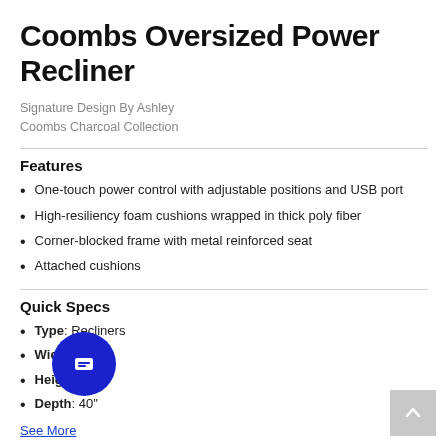Coombs Oversized Power Recliner
Signature Design By Ashley
Coombs Charcoal Collection
Features
One-touch power control with adjustable positions and USB port
High-resiliency foam cushions wrapped in thick poly fiber
Corner-blocked frame with metal reinforced seat
Attached cushions
Quick Specs
Type: Recliners
Width: 50"
Height: 42"
Depth: 40"
See More